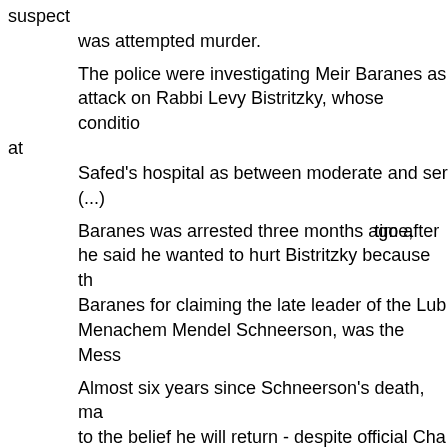suspect
	was attempted murder.

The police were investigating Meir Baranes as attack on Rabbi Levy Bistritzky, whose conditi at Safed's hospital as between moderate and ser (...)

Baranes was arrested three months ago after time, he said he wanted to hurt Bistritzky because th Baranes for claiming the late leader of the Lub Menachem Mendel Schneerson, was the Mess

Almost six years since Schneerson's death, ma to the belief he will return - despite official Cha contrary.

The prophecy has split a closely knit movemen bringing thousands closer to Jewish tradition, n (...)